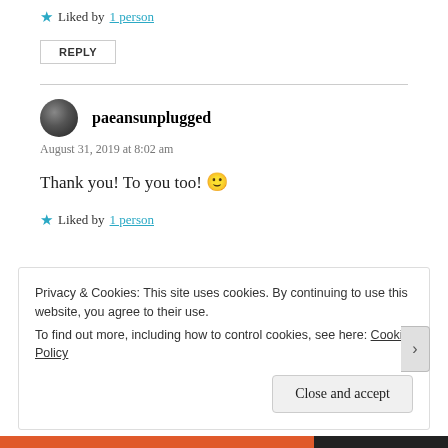★ Liked by 1 person
REPLY
paeansunplugged
August 31, 2019 at 8:02 am
Thank you! To you too! 🙂
★ Liked by 1 person
Privacy & Cookies: This site uses cookies. By continuing to use this website, you agree to their use.
To find out more, including how to control cookies, see here: Cookie Policy
Close and accept